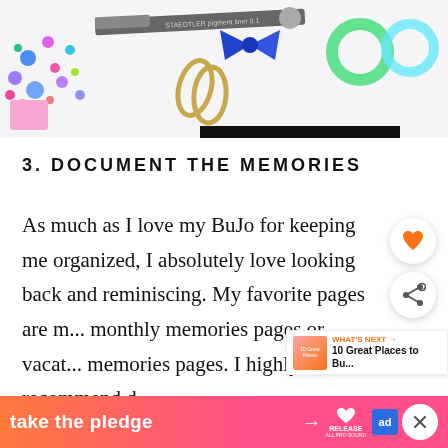[Figure (photo): Photo of craft supplies including a Staedtler pen, gold paper clips, a blue glitter bow, washi tape rolls, colorful sequins and beads on a white surface]
3. DOCUMENT THE MEMORIES
As much as I love my BuJo for keeping me organized, I absolutely love looking back and reminiscing. My favorite pages are my monthly memories pages or vacation memories pages. I highly recommend documenting your memories of the
WHAT'S NEXT → 10 Great Places to Bu...
[Figure (advertisement): Orange/pink gradient banner ad reading 'take the pledge →' with RELEASE and Ed logos]